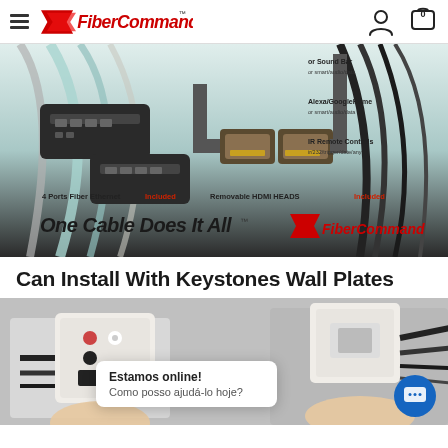FiberCommand™ navigation bar with hamburger menu, logo, user icon, and cart icon (0)
[Figure (photo): FiberCommand product banner showing fiber ethernet cables, removable HDMI heads, 4 ports fiber ethernet included, with text 'One Cable Does It All' and FiberCommand logo. Also shows labels: 'or Sound Bar or smart/audio/data', 'Alexa/GoogleHome or smart/audio/data', 'IR Remote Controls ir/232/trigger/date/any', '4 Ports Fiber Ethernet Included', 'Removable HDMI HEADS Included'.]
Can Install With Keystones Wall Plates
[Figure (photo): Product installation photos showing wall plates with keystone connectors and fiber cables being installed. Includes a chat widget overlay with text 'Estamos online! Como posso ajudá-lo hoje?']